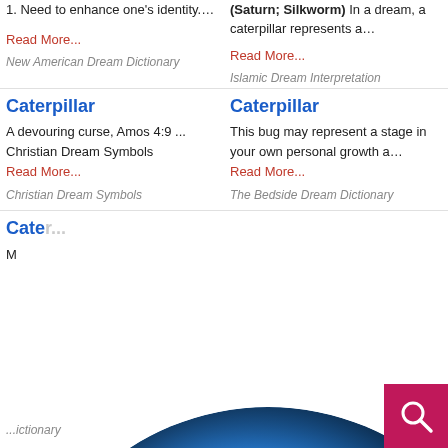1. Need to enhance one's identity....
Read More...
New American Dream Dictionary
(Saturn; Silkworm) In a dream, a caterpillar represents a…
Read More...
Islamic Dream Interpretation
Caterpillar
A devouring curse, Amos 4:9 ... Christian Dream Symbols
Read More...
Christian Dream Symbols
Caterpillar
This bug may represent a stage in your own personal growth a…
Read More...
The Bedside Dream Dictionary
Cate...
...erpillar
Worm. Caterpillars only eat t is not complete. They are…
d More...
Giant Encyclopedia
...erpillar
ware of false friends.... Gypsy Dream Dictionary
Read More...
Gypsy Dream Dictionary
[Figure (logo): Dream Encyclopedia globe logo with clouds and birds, stylized text 'Dream Encyclopedia']